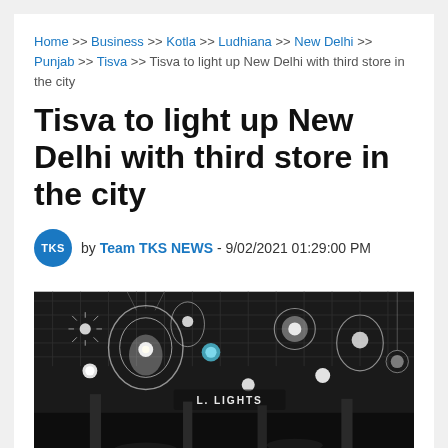Home >> Business >> Kotla >> Ludhiana >> New Delhi >> Punjab >> Tisva >> Tisva to light up New Delhi with third store in the city
Tisva to light up New Delhi with third store in the city
by Team TKS NEWS - 9/02/2021 01:29:00 PM
[Figure (photo): Interior photo of a lighting showroom ceiling with numerous decorative chandeliers, pendant lights, globe lights, and crystal fixtures displayed against a dark ceiling grid. A sign reading 'LIGHTS' is visible.]